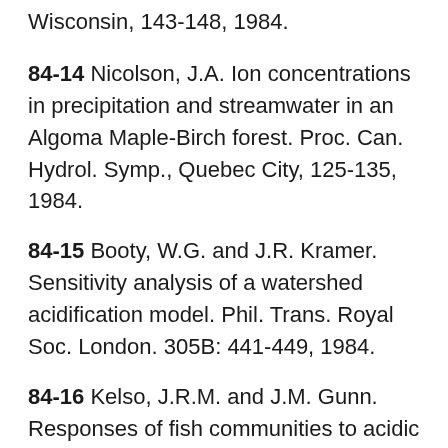Wisconsin, 143-148, 1984.
84-14 Nicolson, J.A. Ion concentrations in precipitation and streamwater in an Algoma Maple-Birch forest. Proc. Can. Hydrol. Symp., Quebec City, 125-135, 1984.
84-15 Booty, W.G. and J.R. Kramer. Sensitivity analysis of a watershed acidification model. Phil. Trans. Royal Soc. London. 305B: 441-449, 1984.
84-16 Kelso, J.R.M. and J.M. Gunn. Responses of fish communities to acidic waters in Ontario. In: Hendry, G.R. (ed.), Early biotic responses to advancing lake acidification,